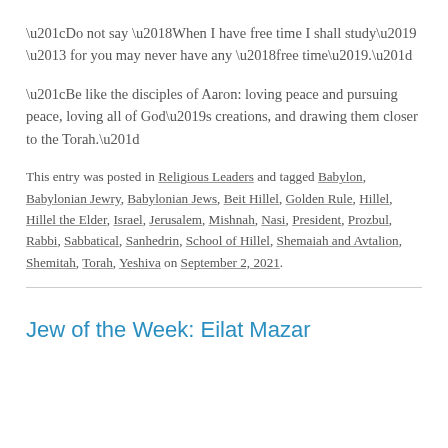“Do not say ‘When I have free time I shall study’ – for you may never have any ‘free time’.”
“Be like the disciples of Aaron: loving peace and pursuing peace, loving all of God’s creations, and drawing them closer to the Torah.”
This entry was posted in Religious Leaders and tagged Babylon, Babylonian Jewry, Babylonian Jews, Beit Hillel, Golden Rule, Hillel, Hillel the Elder, Israel, Jerusalem, Mishnah, Nasi, President, Prozbul, Rabbi, Sabbatical, Sanhedrin, School of Hillel, Shemaiah and Avtalion, Shemitah, Torah, Yeshiva on September 2, 2021.
Jew of the Week: Eilat Mazar